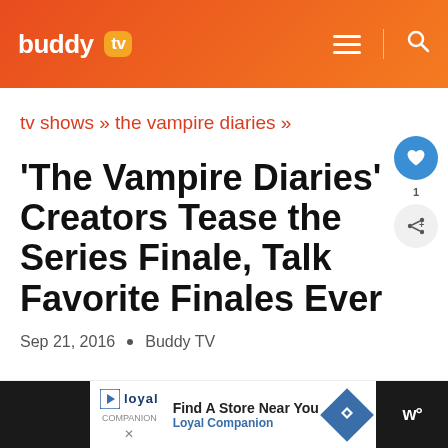buddy tv — navigation header
tv shows » the vampire diaries »
'The Vampire Diaries' Creators Tease the Series Finale, Talk Favorite Finales Ever
Sep 21, 2016  •  Buddy TV
[Figure (other): Advertisement banner: Find A Store Near You - Loyal Companion]